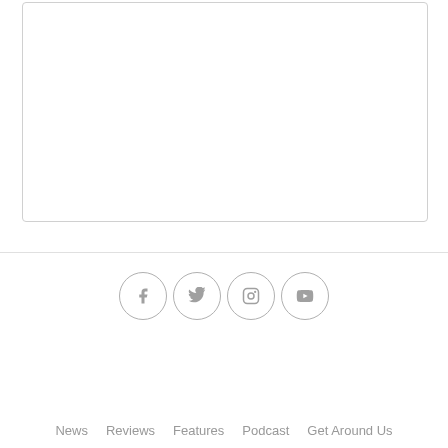[Figure (other): White rounded rectangle box with light gray border, likely a content placeholder or image area]
[Figure (infographic): Four social media icon circles: Facebook (f), Twitter (bird), Instagram (camera), YouTube (play button) — all in gray outlined circles]
News   Reviews   Features   Podcast   Get Around Us